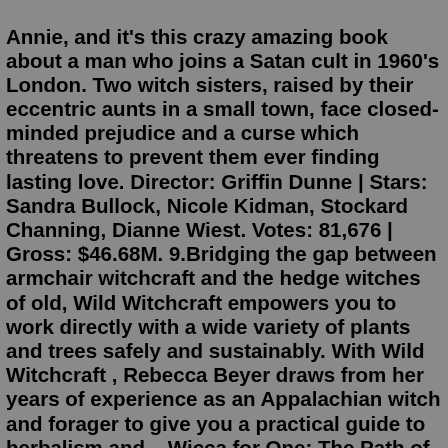Annie, and it's this crazy amazing book about a man who joins a Satan cult in 1960's London. Two witch sisters, raised by their eccentric aunts in a small town, face closed-minded prejudice and a curse which threatens to prevent them ever finding lasting love. Director: Griffin Dunne | Stars: Sandra Bullock, Nicole Kidman, Stockard Channing, Dianne Wiest. Votes: 81,676 | Gross: $46.68M. 9.Bridging the gap between armchair witchcraft and the hedge witches of old, Wild Witchcraft empowers you to work directly with a wide variety of plants and trees safely and sustainably. With Wild Witchcraft , Rebecca Beyer draws from her years of experience as an Appalachian witch and forager to give you a practical guide to herbalism and ...Wicca for One: The Path of Solitary Witchcraft. Raymond Buckland. 4/5. Ebook. Solitary Witch: The Ultimate Book of Shadows for the New Generation. Silver RavenWolf. 3/5. Ebook. The Book of Ceremonial Magic. Cate Tiernan, 24 books Gerina Dunwich, 23 books Patricia Telesco, 21 books Janet Farrar, 17 books Joseph Glanvill, 15 books